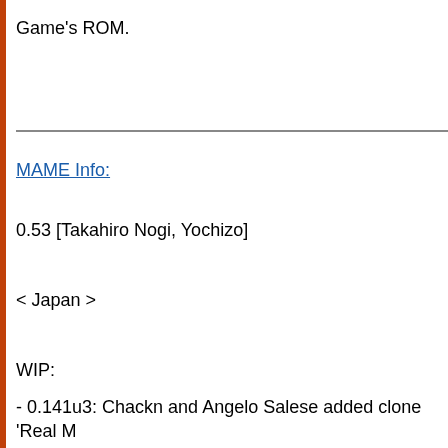Game's ROM.
MAME Info:
0.53 [Takahiro Nogi, Yochizo]
< Japan >
WIP:
- 0.141u3: Chackn and Angelo Salese added clone 'Real M (Japan)', not working. Angelo Salese rewroted IOX key ma Removed ROM patches and added working player 2 input
- 0.53: Takahiro Nogi added Super Real Mahjong Part 3 (J
- 25th June 2001: Yochizo updated the srmp2 driver, addin